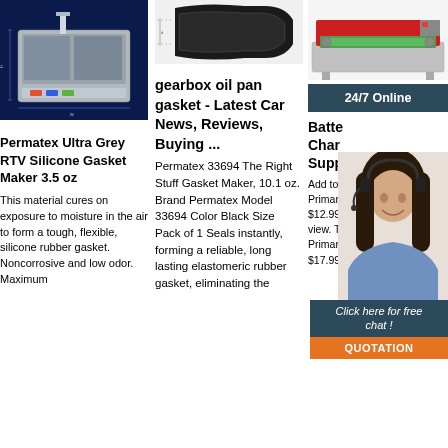[Figure (photo): Industrial machine/equipment on dark blue background with technical diagram]
Permatex Ultra Grey RTV Silicone Gasket Maker 3.5 oz
This material cures on exposure to moisture in the air to form a tough, flexible, silicone rubber gasket. Noncorrosive and low odor. Maximum
[Figure (photo): Gearbox oil pan gasket cross-section diagram]
gearbox oil pan gasket - Latest Car News, Reviews, Buying ...
Permatex 33694 The Right Stuff Gasket Maker, 10.1 oz. Brand Permatex Model 33694 Color Black Size Pack of 1 Seals instantly, forming a reliable, long lasting elastomeric rubber gasket, eliminating the
[Figure (photo): Red and silver industrial cutting/printing machine]
24/7 Online
Battery Charger Supplier
Add to Quick view. D Size Primary Battery. $21.99 $12.99. Add to Cart. Quick view. Tekcell SB-C02 C Size Primary Lithium Battery. $17.99
[Figure (photo): Customer service representative with headset, smiling]
Click here for free chat !
QUOTATION